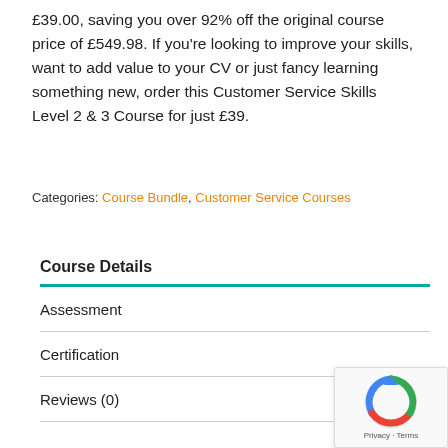£39.00, saving you over 92% off the original course price of £549.98. If you're looking to improve your skills, want to add value to your CV or just fancy learning something new, order this Customer Service Skills Level 2 & 3 Course for just £39.
Categories: Course Bundle, Customer Service Courses
Course Details
Assessment
Certification
Reviews (0)